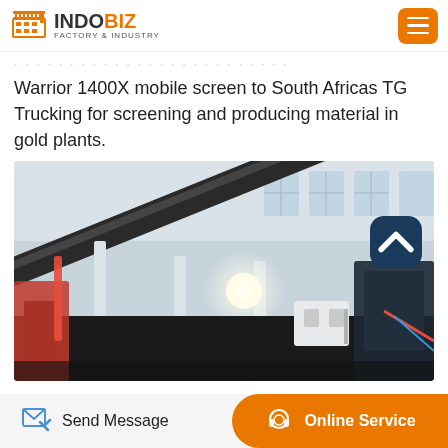INDOBIZ FACTORY & INDUSTRY
Warrior 1400X mobile screen to South Africas TG Trucking for screening and producing material in gold plants.
[Figure (photo): Industrial machinery photo showing a Warrior 1400X mobile screen unit inside a factory/warehouse. The image shows conveyor belts, metal frame structures, bright work lights, and various machinery components. The setting is an industrial facility with large windows visible in the background.]
Send Message   Online Service